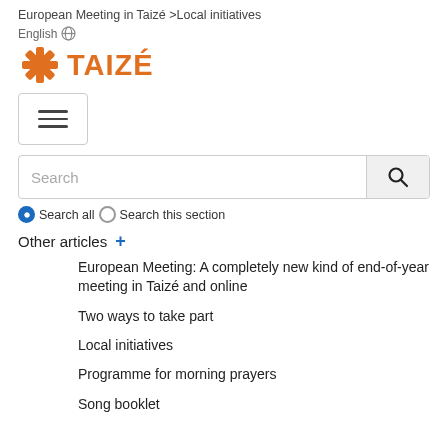European Meeting in Taizé >Local initiatives
English
[Figure (logo): Taizé logo with orange star/cross icon and orange TAIZÉ text]
[Figure (screenshot): Hamburger menu button with three horizontal lines]
[Figure (screenshot): Search bar with placeholder text 'Search' and magnifying glass button]
Search all  Search this section
Other articles +
European Meeting: A completely new kind of end-of-year meeting in Taizé and online
Two ways to take part
Local initiatives
Programme for morning prayers
Song booklet